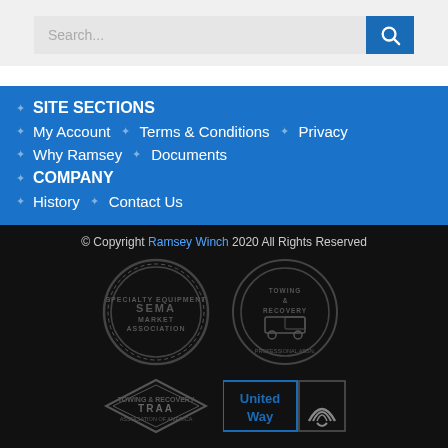[Figure (screenshot): Search bar with text input placeholder 'Search...' and a blue search button with magnifying glass icon]
SITE SECTIONS
My Account · Terms & Conditions · Privacy
Why Ramsey · Documents
COMPANY
History · Contact Us
© Copyright Ramsey Winch 2020 All Rights Reserved
[Figure (logo): SEMA Specialty Equipment Market Association logo]
[Figure (logo): Towing and Recovery association logo]
[Figure (logo): TRAA (Towing and Recovery Association of America) diamond logo]
[Figure (logo): United Way logo with rainbow symbol]